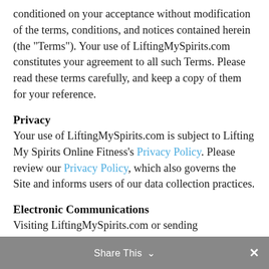conditioned on your acceptance without modification of the terms, conditions, and notices contained herein (the "Terms"). Your use of LiftingMySpirits.com constitutes your agreement to all such Terms. Please read these terms carefully, and keep a copy of them for your reference.
Privacy
Your use of LiftingMySpirits.com is subject to Lifting My Spirits Online Fitness's Privacy Policy. Please review our Privacy Policy, which also governs the Site and informs users of our data collection practices.
Electronic Communications
Visiting LiftingMySpirits.com or sending
Share This ×